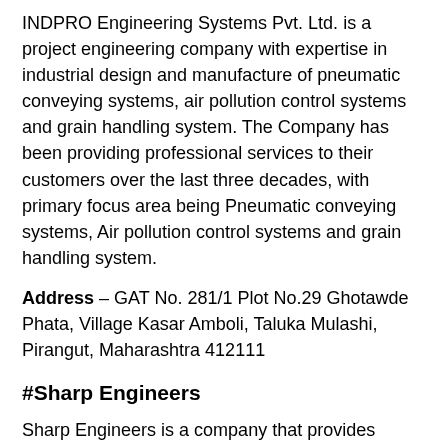INDPRO Engineering Systems Pvt. Ltd. is a project engineering company with expertise in industrial design and manufacture of pneumatic conveying systems, air pollution control systems and grain handling system. The Company has been providing professional services to their customers over the last three decades, with primary focus area being Pneumatic conveying systems, Air pollution control systems and grain handling system.
Address – GAT No. 281/1 Plot No.29 Ghotawde Phata, Village Kasar Amboli, Taluka Mulashi, Pirangut, Maharashtra 412111
#Sharp Engineers
Sharp Engineers is a company that provides engineering and manufacturing services for various metal products. From stainless steel to aluminum, the company has successfully diversified into managing and executing total turnkey projects for a wide variety of clients. Since its